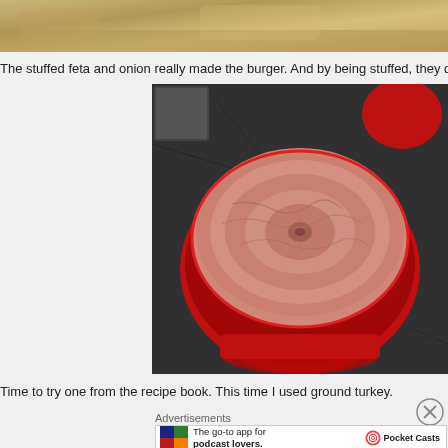[Figure (photo): Partial top photograph showing a sandy/food background, cropped at the top of the page]
The stuffed feta and onion really made the burger. And by being stuffed, they didn't fa
[Figure (photo): Photo of raw ground turkey meat in a round red plastic bowl on a dark granite countertop]
Time to try one from the recipe book. This time I used ground turkey.
Advertisements
[Figure (other): Advertisement banner for Pocket Casts app: 'The go-to app for podcast lovers.' with Pocket Casts logo]